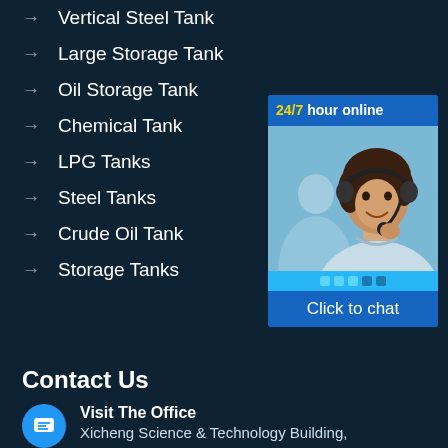→  Vertical Steel Tank
→  Large Storage Tank
→  Oil Storage Tank
→  Chemical Tank
→  LPG Tanks
→  Steel Tanks
→  Crude Oil Tank
→  Storage Tanks
[Figure (infographic): 24/7 hour online chat widget showing a smiling female customer service agent wearing a headset, with blue background header reading '24/7 hour online', dots indicator bar, and 'Click to chat' footer button]
Contact Us
Visit The Office
Xicheng Science & Technology Building,